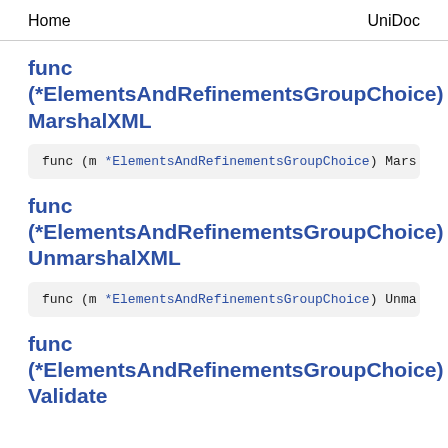Home    UniDoc
func (*ElementsAndRefinementsGroupChoice) MarshalXML
func (m *ElementsAndRefinementsGroupChoice) Mars
func (*ElementsAndRefinementsGroupChoice) UnmarshalXML
func (m *ElementsAndRefinementsGroupChoice) Unma
func (*ElementsAndRefinementsGroupChoice) Validate